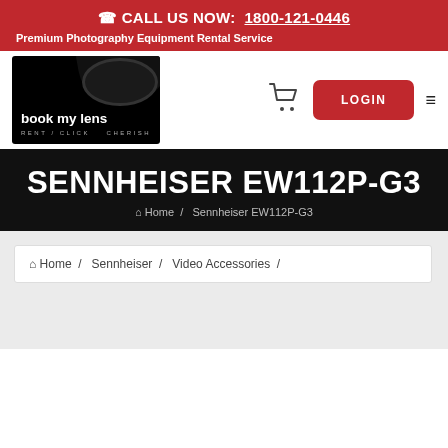☎ CALL US NOW:  1800-121-0446
Premium Photography Equipment Rental Service
[Figure (logo): book my lens logo — black box with white text 'book my lens', camera lens graphic, tagline RENT / CLICK  CHERISH]
LOGIN
SENNHEISER EW112P-G3
⌂ Home  /  Sennheiser EW112P-G3
⌂ Home  /  Sennheiser  /  Video Accessories  /